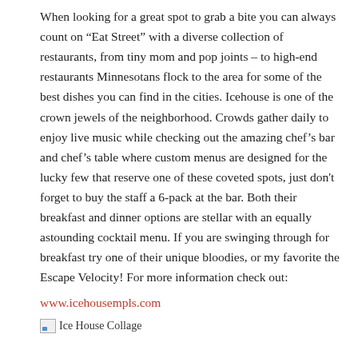When looking for a great spot to grab a bite you can always count on “Eat Street” with a diverse collection of restaurants, from tiny mom and pop joints – to high-end restaurants Minnesotans flock to the area for some of the best dishes you can find in the cities. Icehouse is one of the crown jewels of the neighborhood. Crowds gather daily to enjoy live music while checking out the amazing chef’s bar and chef’s table where custom menus are designed for the lucky few that reserve one of these coveted spots, just don't forget to buy the staff a 6-pack at the bar. Both their breakfast and dinner options are stellar with an equally astounding cocktail menu. If you are swinging through for breakfast try one of their unique bloodies, or my favorite the Escape Velocity! For more information check out:
www.icehousempls.com
[Figure (photo): Ice House Collage image placeholder]